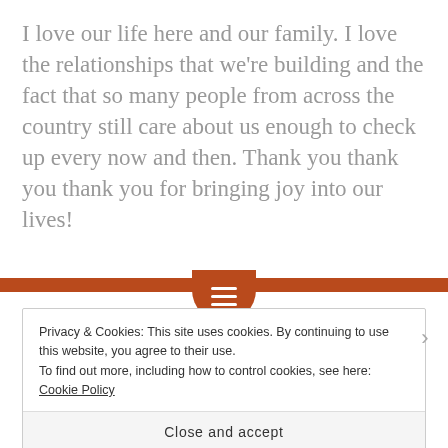I love our life here and our family. I love the relationships that we're building and the fact that so many people from across the country still care about us enough to check up every now and then. Thank you thank you thank you for bringing joy into our lives!
Privacy & Cookies: This site uses cookies. By continuing to use this website, you agree to their use.
To find out more, including how to control cookies, see here: Cookie Policy
Close and accept